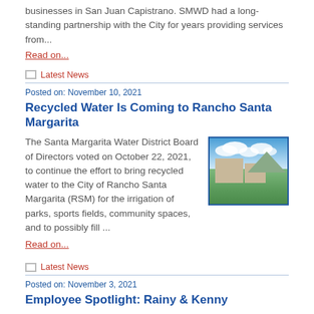businesses in San Juan Capistrano. SMWD had a long-standing partnership with the City for years providing services from...
Read on...
Latest News
Posted on: November 10, 2021
Recycled Water Is Coming to Rancho Santa Margarita
[Figure (photo): Outdoor landscape photo showing blue sky with white clouds, green grass, residential buildings, and mountains in the background in Rancho Santa Margarita]
The Santa Margarita Water District Board of Directors voted on October 22, 2021, to continue the effort to bring recycled water to the City of Rancho Santa Margarita (RSM) for the irrigation of parks, sports fields, community spaces, and to possibly fill ...
Read on...
Latest News
Posted on: November 3, 2021
Employee Spotlight: Rainy & Kenny